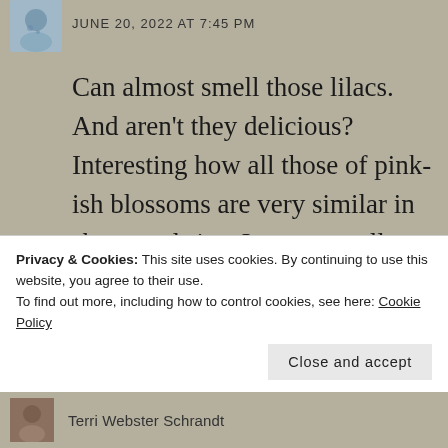[Figure (photo): Small avatar photo of a person in a blue patterned shirt, top-left corner]
JUNE 20, 2022 AT 7:45 PM
Can almost smell those lilacs. And aren't they delicious? Interesting how all those of pink-ish blossoms are very similar in shape and size. I went to college in Knoxville, Tennessee where they have a dogwood festival every spring. The city is alive with the beautiful...
Privacy & Cookies: This site uses cookies. By continuing to use this website, you agree to their use.
To find out more, including how to control cookies, see here: Cookie Policy
Close and accept
[Figure (photo): Small avatar photo of a person, bottom strip]
Terri Webster Schrandt